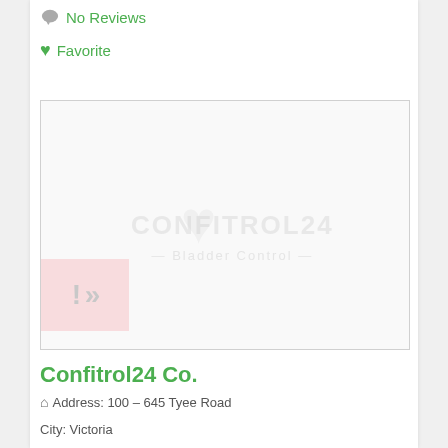No Reviews
Favorite
[Figure (other): Placeholder image box with watermark logo text 'CONFITROL24' and 'Bladder Control', plus a pink accent box with '>>' arrows in lower left]
Confitrol24 Co.
Address: 100 – 645 Tyee Road
City: Victoria